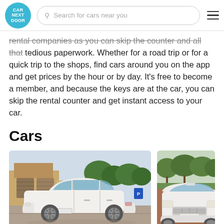CAR NEXT DOOR | Search for cars near you
rental companies as you can skip the counter and all that tedious paperwork. Whether for a road trip or for a quick trip to the shops, find cars around you on the app and get prices by the hour or by day. It's free to become a member, and because the keys are at the car, you can skip the rental counter and get instant access to your car.
Cars
[Figure (photo): White small hatchback car (Nissan Micra) parked in front of a suburban house with garage, viewed from the side.]
[Figure (photo): White sedan car parked on a reddish gravel area with trees in background, viewed from the front-side angle.]